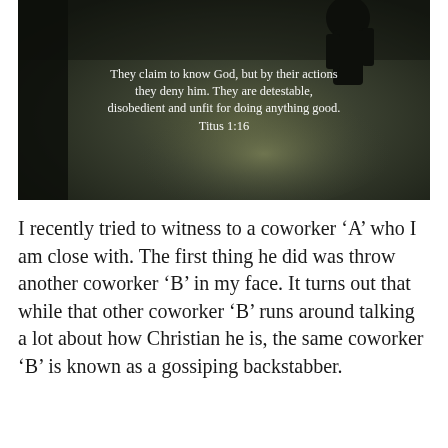[Figure (photo): Dark, moody photograph with a silhouette of a person in the upper right. Overlaid white text reads: 'They claim to know God, but by their actions they deny him. They are detestable, disobedient and unfit for doing anything good. Titus 1:16']
I recently tried to witness to a coworker ‘A’ who I am close with. The first thing he did was throw another coworker ‘B’ in my face. It turns out that while that other coworker ‘B’ runs around talking a lot about how Christian he is, the same coworker ‘B’ is known as a gossiping backstabber.